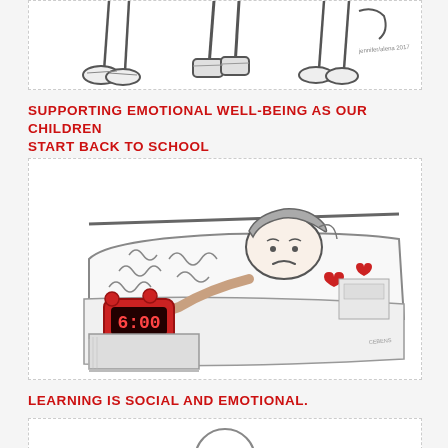[Figure (illustration): Sketch of children's legs and feet (shoes) walking, and a hand holding a bag — back to school illustration]
SUPPORTING EMOTIONAL WELL-BEING AS OUR CHILDREN START BACK TO SCHOOL
[Figure (illustration): Hand-drawn illustration of a child lying in bed looking sad/anxious, reaching toward a red digital alarm clock showing 6:00, with wavy stress lines above the clock, hearts on the child's pajamas, and a nightstand in background]
LEARNING IS SOCIAL AND EMOTIONAL.
[Figure (illustration): Partial illustration at the bottom of the page — partially visible circular shape, likely beginning of another drawing]